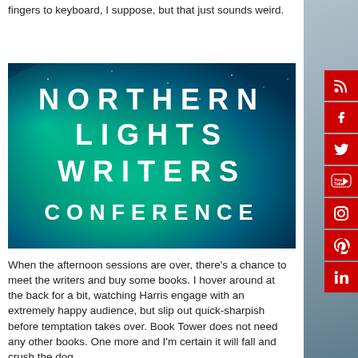fingers to keyboard, I suppose, but that just sounds weird.
[Figure (illustration): Northern Lights Writers Conference banner image with aurora borealis background. Large bold white text reads: NORTHERN LIGHTS WRITERS CONFERENCE]
When the afternoon sessions are over, there's a chance to meet the writers and buy some books. I hover around at the back for a bit, watching Harris engage with an extremely happy audience, but slip out quick-sharpish before temptation takes over. Book Tower does not need any other books. One more and I'm certain it will fall and crush the dog.